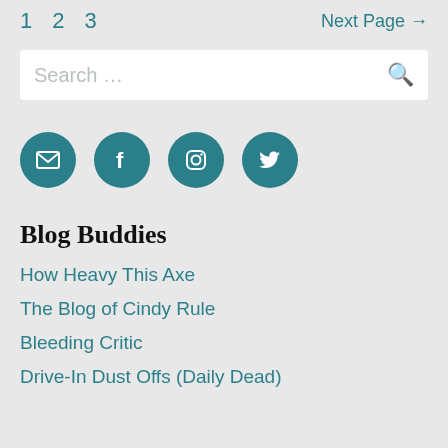1  2  3   Next Page →
Search …
[Figure (infographic): Four teal circular social media icons: email, Facebook, Instagram, Twitter]
Blog Buddies
How Heavy This Axe
The Blog of Cindy Rule
Bleeding Critic
Drive-In Dust Offs (Daily Dead)